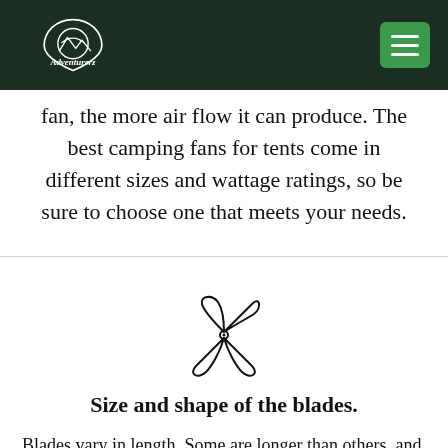Adventurerz
fan, the more air flow it can produce. The best camping fans for tents come in different sizes and wattage ratings, so be sure to choose one that meets your needs.
[Figure (illustration): Fan/propeller icon with four blades, outline style black on white]
Size and shape of the blades.
Blades vary in length. Some are longer than others, and some even look like fans. Some